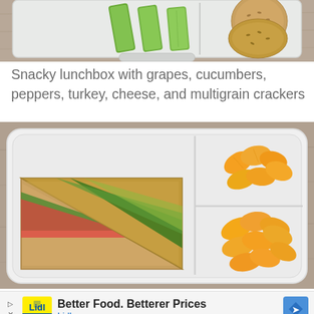[Figure (photo): Top portion of a snack lunchbox showing green cucumber slices and round multigrain crackers in a white plastic divided container on a wooden surface.]
Snacky lunchbox with grapes, cucumbers, peppers, turkey, cheese, and multigrain crackers
[Figure (photo): A white plastic divided lunchbox containing two triangular sandwich halves made with whole grain bread filled with greens and guacamole-like spread, alongside orange mandarin segments in separate compartments, placed on a wooden surface.]
[Figure (photo): Lidl advertisement banner: yellow and blue Lidl logo, text 'Better Food. Betterer Prices' in bold, 'Lidl' in blue, blue diamond-shaped chevron arrow icon. Ad label with triangle and X icons on left.]